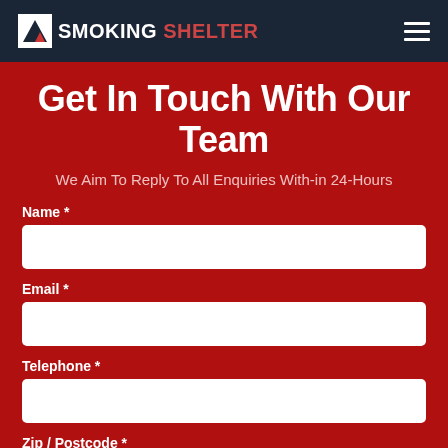SMOKING SHELTER
Get In Touch With Our Team
We Aim To Reply To All Enquiries With-in 24-Hours
Name *
Email *
Telephone *
Zip / Postcode *